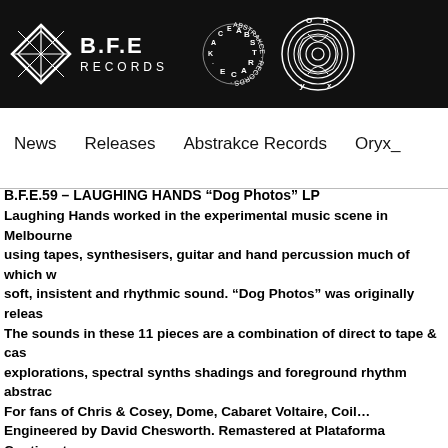[Figure (logo): B.F.E Records logo with diamond shape and two other logos (Abstrakce Records circular text logo and Oryx circular pattern logo) on black background header bar]
News   Releases   Abstrakce Records   Oryx_
B.F.E.59 – LAUGHING HANDS "Dog Photos" LP
Laughing Hands worked in the experimental music scene in Melbourne using tapes, synthesisers, guitar and hand percussion much of which w soft, insistent and rhythmic sound. "Dog Photos" was originally releas The sounds in these 11 pieces are a combination of direct to tape & cas explorations, spectral synths shadings and foreground rhythm abstrac For fans of Chris & Cosey, Dome, Cabaret Voltaire, Coil… Engineered by David Chesworth. Remastered at Plataforma Continenta B.F.E records 2020
ABST015 RAPOON – Vernal Crossing 2LP
Vernal Crossing is Rapoon´s fourth album, originally released in 1993 b by Robin Storey (founding member of the pioneering industrial group : A magic balance between percussion and electronics, creating mind-be